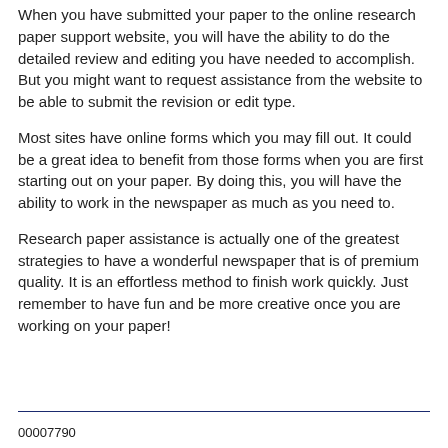When you have submitted your paper to the online research paper support website, you will have the ability to do the detailed review and editing you have needed to accomplish. But you might want to request assistance from the website to be able to submit the revision or edit type.
Most sites have online forms which you may fill out. It could be a great idea to benefit from those forms when you are first starting out on your paper. By doing this, you will have the ability to work in the newspaper as much as you need to.
Research paper assistance is actually one of the greatest strategies to have a wonderful newspaper that is of premium quality. It is an effortless method to finish work quickly. Just remember to have fun and be more creative once you are working on your paper!
00007790